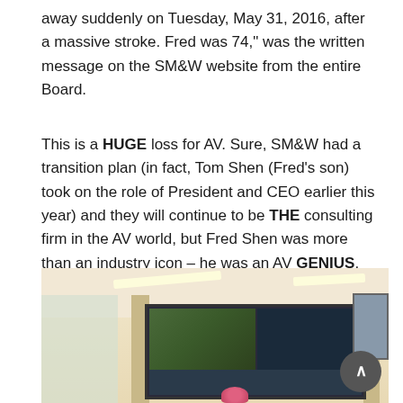away suddenly on Tuesday, May 31, 2016, after a massive stroke. Fred was 74," was the written message on the SM&W website from the entire Board.
This is a HUGE loss for AV. Sure, SM&W had a transition plan (in fact, Tom Shen (Fred's son) took on the role of President and CEO earlier this year) and they will continue to be THE consulting firm in the AV world, but Fred Shen was more than an industry icon – he was an AV GENIUS.
[Figure (photo): Interior of a modern conference room with a large multi-screen display wall showing sports and data content, wood paneling, large windows on the left, a framed picture on the right wall, and a navigation arrow button overlay.]